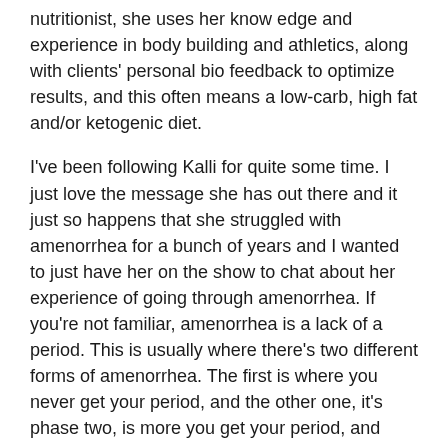nutritionist, she uses her know edge and experience in body building and athletics, along with clients' personal bio feedback to optimize results, and this often means a low-carb, high fat and/or ketogenic diet.
I've been following Kalli for quite some time. I just love the message she has out there and it just so happens that she struggled with amenorrhea for a bunch of years and I wanted to just have her on the show to chat about her experience of going through amenorrhea. If you're not familiar, amenorrhea is a lack of a period. This is usually where there's two different forms of amenorrhea. The first is where you never get your period, and the other one, it's phase two, is more you get your period, and then it goes missing for a while, so this means you've already menstruated one time in your life. I think it's a minimum of three times, and then it's phase two amenorrhea. In any case, your period is missing, you're wondering where it went, and we just go through her experience of that.